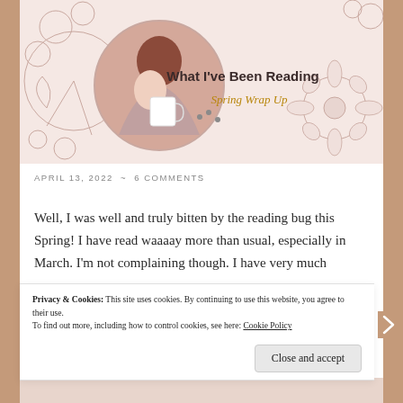[Figure (illustration): Blog banner image with pink floral illustration background, a circular photo of a woman with red hair holding a white mug, and text reading 'What I've Been Reading / Spring Wrap Up']
APRIL 13, 2022 ~ 6 COMMENTS
Well, I was well and truly bitten by the reading bug this Spring! I have read waaaay more than usual, especially in March. I'm not complaining though. I have very much
Privacy & Cookies: This site uses cookies. By continuing to use this website, you agree to their use.
To find out more, including how to control cookies, see here: Cookie Policy
Close and accept